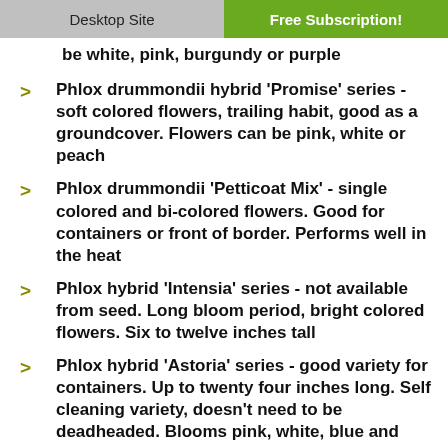Desktop Site | Free Subscription!
be white, pink, burgundy or purple
Phlox drummondii hybrid 'Promise' series - soft colored flowers, trailing habit, good as a groundcover. Flowers can be pink, white or peach
Phlox drummondii 'Petticoat Mix' - single colored and bi-colored flowers. Good for containers or front of border. Performs well in the heat
Phlox hybrid 'Intensia' series - not available from seed. Long bloom period, bright colored flowers. Six to twelve inches tall
Phlox hybrid 'Astoria' series - good variety for containers. Up to twenty four inches long. Self cleaning variety, doesn't need to be deadheaded. Blooms pink, white, blue and peach